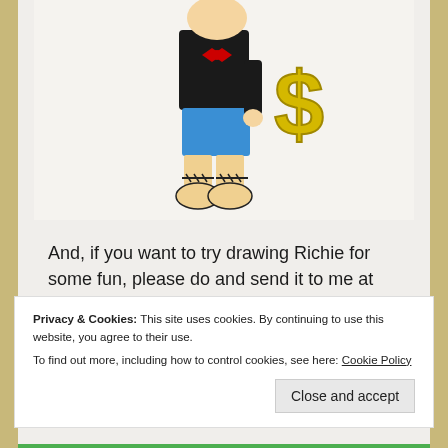[Figure (illustration): A child's hand-drawn illustration of a cartoon character (Richie Rich style) wearing a black jacket, blue shorts, with barbed wire around the ankles, large round shoes, holding a large yellow dollar sign, and wearing a red bow tie. Drawn on white paper with colored pencils/markers.]
And, if you want to try drawing Richie for some fun, please do and send it to me at gloriagladrich2@yahoo.com, so I can share it on the blog!
Privacy & Cookies: This site uses cookies. By continuing to use this website, you agree to their use.
To find out more, including how to control cookies, see here: Cookie Policy
Close and accept